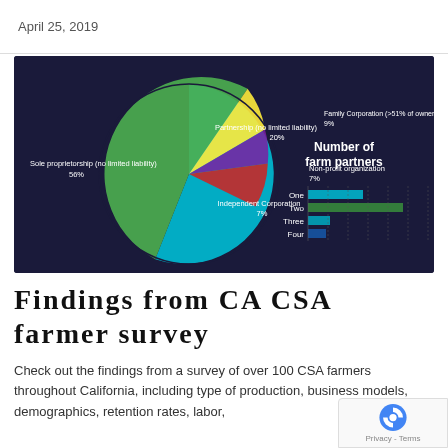April 25, 2019
[Figure (pie-chart): Number of farm partners]
Findings from CA CSA farmer survey
Check out the findings from a survey of over 100 CSA farmers throughout California, including type of product, business models, demographics, retention rates, labor,